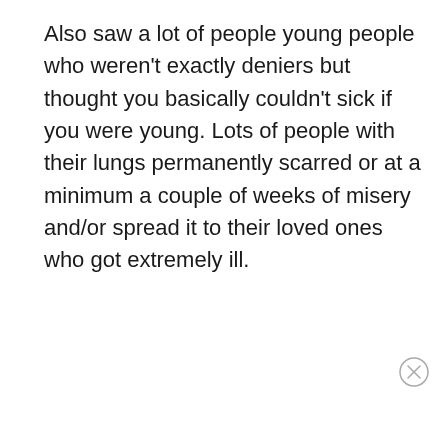Also saw a lot of people young people who weren't exactly deniers but thought you basically couldn't sick if you were young. Lots of people with their lungs permanently scarred or at a minimum a couple of weeks of misery and/or spread it to their loved ones who got extremely ill.
5hade